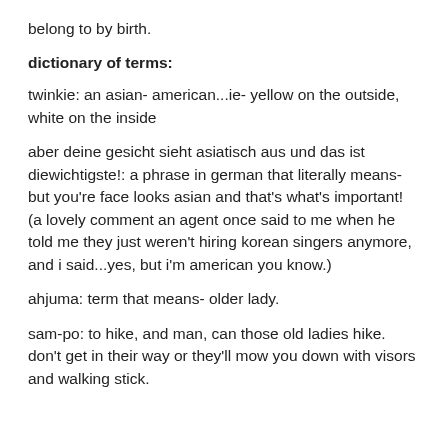belong to by birth.
dictionary of terms:
twinkie: an asian- american...ie- yellow on the outside, white on the inside
aber deine gesicht sieht asiatisch aus und das ist diewichtigste!: a phrase in german that literally means- but you're face looks asian and that's what's important! (a lovely comment an agent once said to me when he told me they just weren't hiring korean singers anymore, and i said...yes, but i'm american you know.)
ahjuma: term that means- older lady.
sam-po: to hike, and man, can those old ladies hike. don't get in their way or they'll mow you down with visors and walking stick.